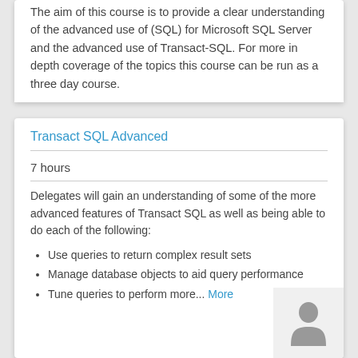The aim of this course is to provide a clear understanding of the advanced use of (SQL) for Microsoft SQL Server and the advanced use of Transact-SQL. For more in depth coverage of the topics this course can be run as a three day course.
Transact SQL Advanced
7 hours
Delegates will gain an understanding of some of the more advanced features of Transact SQL as well as being able to do each of the following:
Use queries to return complex result sets
Manage database objects to aid query performance
Tune queries to perform more... More